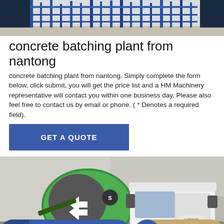[Figure (photo): Top portion of a concrete batching plant facility with blue steel structures and equipment against a sky background]
concrete batching plant from nantong
concrete batching plant from nantong. Simply complete the form below, click submit, you will get the price list and a HM Machinery representative will contact you within one business day. Please also feel free to contact us by email or phone. ( * Denotes a required field).
GET A QUOTE
[Figure (photo): A green and white concrete mixer truck (HOWO brand) with large rotating drum bearing logo arrows, parked in front of a concrete/aggregate background]